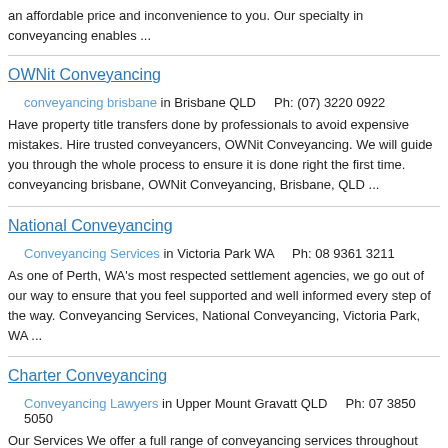an affordable price and inconvenience to you. Our specialty in conveyancing enables ...
OWNit Conveyancing
conveyancing brisbane in Brisbane QLD    Ph: (07) 3220 0922
Have property title transfers done by professionals to avoid expensive mistakes. Hire trusted conveyancers, OWNit Conveyancing. We will guide you through the whole process to ensure it is done right the first time. conveyancing brisbane, OWNit Conveyancing, Brisbane, QLD ...
National Conveyancing
Conveyancing Services in Victoria Park WA    Ph: 08 9361 3211
As one of Perth, WA's most respected settlement agencies, we go out of our way to ensure that you feel supported and well informed every step of the way. Conveyancing Services, National Conveyancing, Victoria Park, WA ...
Charter Conveyancing
Conveyancing Lawyers in Upper Mount Gravatt QLD    Ph: 07 3850 5050
Our Services We offer a full range of conveyancing services throughout Brisbane, Gold Coast, Sunshine Coast and Ipswich. Our wide range of services include: advice for first home buyers, acting for buyers and sellers on commercial real estate transactions, property auction enquiries, advice on ...